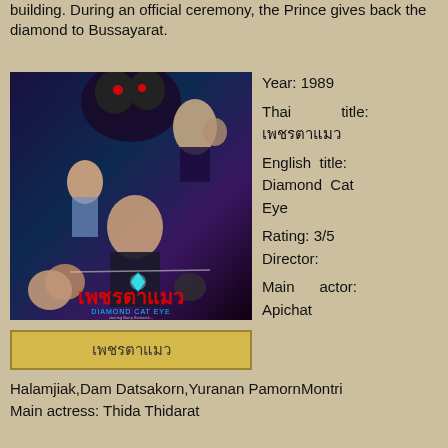building. During an official ceremony, the Prince gives back the diamond to Bussayarat.
[Figure (photo): Movie poster for Diamond Cat Eye (1989), a Thai film. Shows action/fantasy collage with multiple characters including a central male figure with a glowing diamond, women, and a monster. Thai title in red and English subtitle in cyan at the bottom.]
Year: 1989
Thai title: เพชรตาแมว
English title: Diamond Cat Eye
Rating: 3/5
Director:
Main actor: Apichat
เพชรตาแมว
Halamjiak,Dam Datsakorn,Yuranan PamornMontri
Main actress: Thida Thidarat